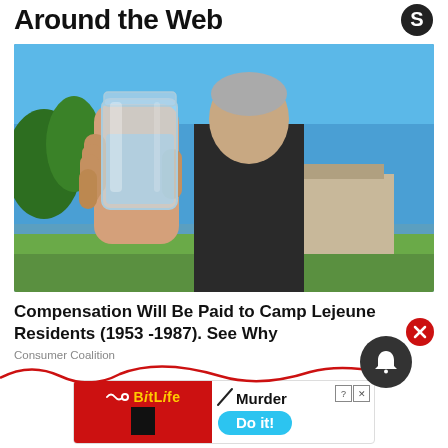Around the Web
[Figure (photo): A person holding up a glass jar filled with water outdoors, with blue sky in background]
Compensation Will Be Paid to Camp Lejeune Residents (1953 -1987). See Why
Consumer Coalition
[Figure (screenshot): BitLife app advertisement banner showing 'Murder Do it!' with red background and cyan button]